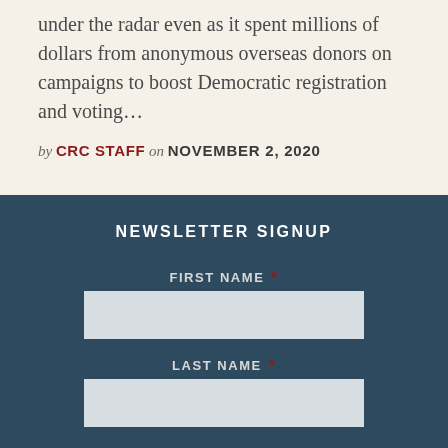under the radar even as it spent millions of dollars from anonymous overseas donors on campaigns to boost Democratic registration and voting…
by CRC STAFF on NOVEMBER 2, 2020
NEWSLETTER SIGNUP
FIRST NAME *
LAST NAME *